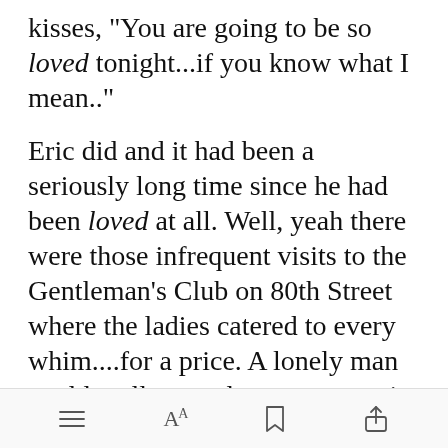kisses, "You are going to be so loved tonight...if you know what I mean.."
Eric did and it had been a seriously long time since he had been loved at all. Well, yeah there were those infrequent visits to the Gentleman's Club on 80th Street where the ladies catered to every whim....for a price. A lonely man could really spend some money i[Open in app]ted.
[toolbar icons: menu, text size, bookmark, share]